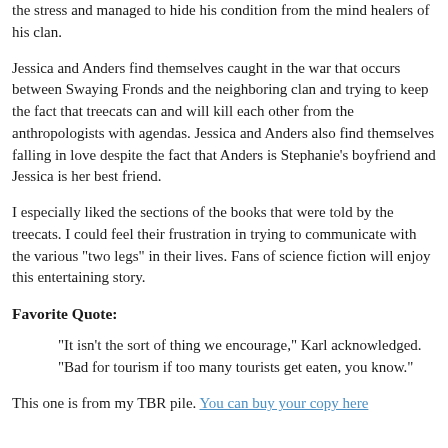the stress and managed to hide his condition from the mind healers of his clan.
Jessica and Anders find themselves caught in the war that occurs between Swaying Fronds and the neighboring clan and trying to keep the fact that treecats can and will kill each other from the anthropologists with agendas. Jessica and Anders also find themselves falling in love despite the fact that Anders is Stephanie's boyfriend and Jessica is her best friend.
I especially liked the sections of the books that were told by the treecats. I could feel their frustration in trying to communicate with the various "two legs" in their lives. Fans of science fiction will enjoy this entertaining story.
Favorite Quote:
"It isn't the sort of thing we encourage," Karl acknowledged. "Bad for tourism if too many tourists get eaten, you know."
This one is from my TBR pile. You can buy your copy here